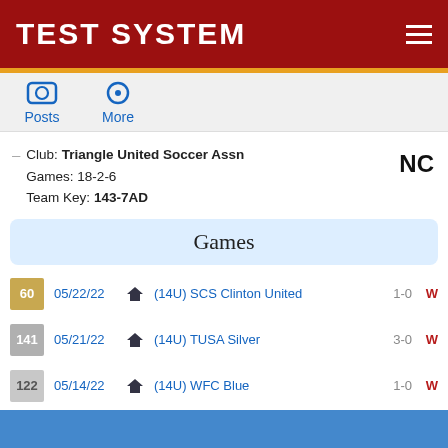TEST SYSTEM
Posts  More
Club: Triangle United Soccer Assn
Games: 18-2-6
Team Key: 143-7AD
NC
Games
60  05/22/22  (14U) SCS Clinton United  1-0  W
141  05/21/22  (14U) TUSA Silver  3-0  W
122  05/14/22  (14U) WFC Blue  1-0  W
SincVIP Access
[Figure (illustration): Blue shield checkmark icon for SincVIP Access]